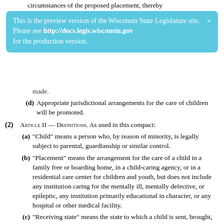circumstances of the proposed placement, thereby
[Figure (screenshot): Blue preview banner: 'This is the preview version of the Wisconsin State Legislature site. Please see http://docs.legis.wisconsin.gov for the production version.']
made.
(d) Appropriate jurisdictional arrangements for the care of children will be promoted.
(2) Article II — Definitions. As used in this compact:
(a) "Child" means a person who, by reason of minority, is legally subject to parental, guardianship or similar control.
(b) "Placement" means the arrangement for the care of a child in a family free or boarding home, in a child-caring agency, or in a residential care center for children and youth, but does not include any institution caring for the mentally ill, mentally defective, or epileptic, any institution primarily educational in character, or any hospital or other medical facility.
(c) "Receiving state" means the state to which a child is sent, brought, or caused to be sent or brought, whether by public authorities or private persons or agencies, and whether for placement with state or local public authorities or for placement with private agencies or persons.
(d) "Sending agency" means a party state, officer or employee